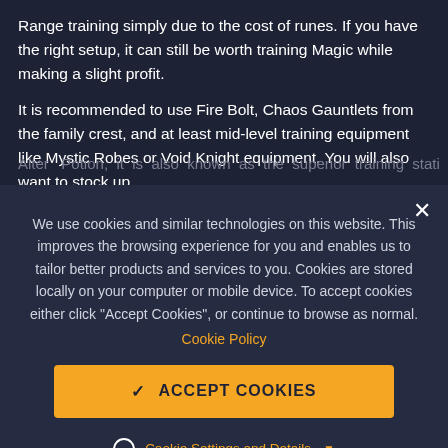Range training simply due to the cost of runes. If you have the right setup, it can still be worth training Magic while making a slight profit.
It is recommended to use Fire Bolt, Chaos Gauntlets from the family crest, and at least mid-level training equipment like Mystic Robes or Void Knight equipment. You will also want to stock up
We use cookies and similar technologies on this website. This improves the browsing experience for you and enables us to tailor better products and services to you. Cookies are stored locally on your computer or mobile device. To accept cookies either click "Accept Cookies", or continue to browse as normal.
Cookie Policy
✓  ACCEPT COOKIES
Cookie Settings and Details ▼